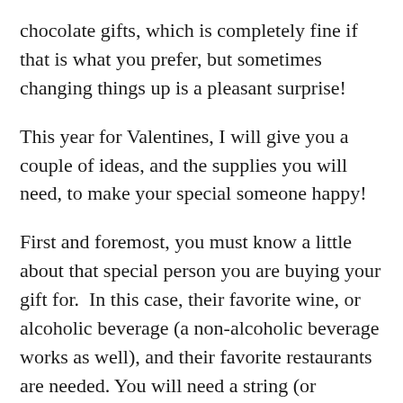chocolate gifts, which is completely fine if that is what you prefer, but sometimes changing things up is a pleasant surprise!
This year for Valentines, I will give you a couple of ideas, and the supplies you will need, to make your special someone happy!
First and foremost, you must know a little about that special person you are buying your gift for.  In this case, their favorite wine, or alcoholic beverage (a non-alcoholic beverage works as well), and their favorite restaurants are needed. You will need a string (or something you can use to attach the gift card to the restaurant) to tie on the bottle itself, and a